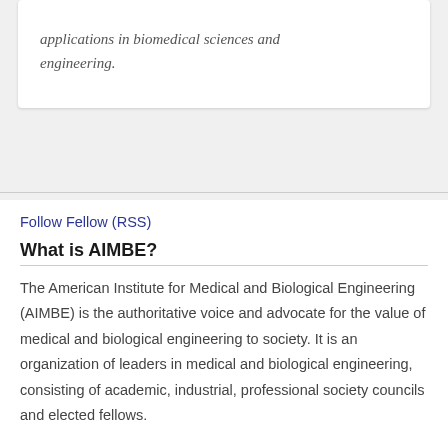applications in biomedical sciences and engineering.
Follow Fellow (RSS)
What is AIMBE?
The American Institute for Medical and Biological Engineering (AIMBE) is the authoritative voice and advocate for the value of medical and biological engineering to society. It is an organization of leaders in medical and biological engineering, consisting of academic, industrial, professional society councils and elected fellows.